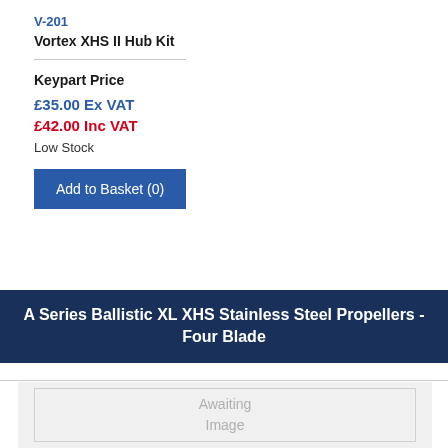V-201
Vortex XHS II Hub Kit
Keypart Price
£35.00 Ex VAT
£42.00 Inc VAT
Low Stock
Add to Basket (0)
A Series Ballistic XL XHS Stainless Steel Propellers - Four Blade
[Figure (other): Awaiting Image placeholder box]